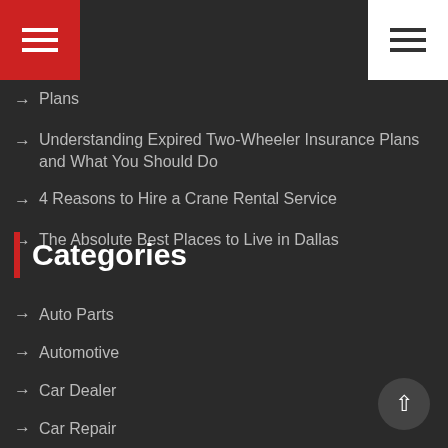Navigation menu buttons
Plans
Understanding Expired Two-Wheeler Insurance Plans and What You Should Do
4 Reasons to Hire a Crane Rental Service
The Absolute Best Places to Live in Dallas
Categories
Auto Parts
Automotive
Car Dealer
Car Repair
Driving Tips
News
Used Car